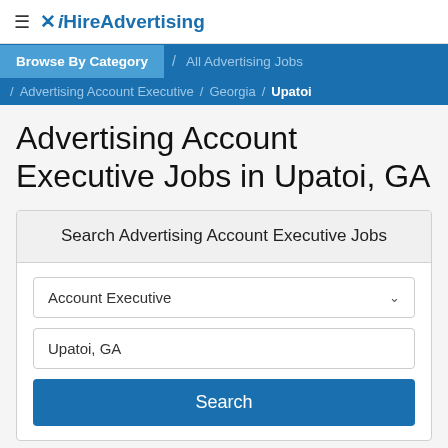≡ ✕ iHireAdvertising
Browse By Category / All Advertising Jobs / Advertising Account Executive / Georgia / Upatoi
Advertising Account Executive Jobs in Upatoi, GA
Search Advertising Account Executive Jobs
Account Executive
Upatoi, GA
Search